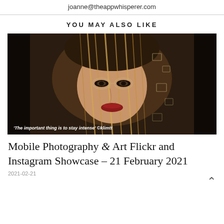joanne@theappwhisperer.com
YOU MAY ALSO LIKE
[Figure (photo): Portrait of a blonde woman with artistic light streaks overlaid on her face, dark background, with caption: 'The important thing is to stay intense' ©klimtt]
'The important thing is to stay intense' ©klimtt
Mobile Photography & Art Flickr and Instagram Showcase – 21 February 2021
2021-02-21